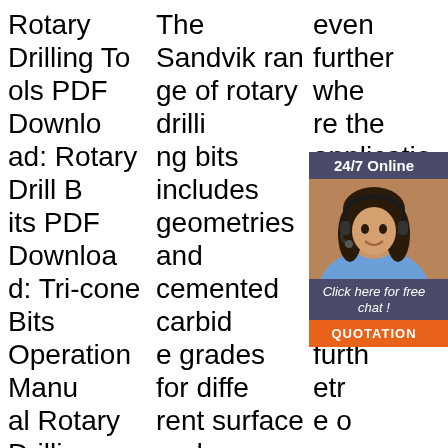Rotary Drilling Tools PDF Download: Rotary Drill Bits PDF Download: Tri-cone Bits Operation Manual Rotary Drilling Tools IADC Codes Product Features Blast Hole Rotary Bits Rotary Drill String 251mm (9 7/8") IADC435 Download PDF 251mm (9 7/8") IADC535 Download PDF 229
The Sandvik range of rotary drilling bits includes geometries and cemented carbide grades for different surface and compressive strengths, abrasiveness, massiveness and homogeneity of rock as well as for various penetration rates and capabilities and characteristics of the drill rig. I
even further where the application presents restrictions to drilling. To further the penetration rate of our customers (Rotary and Rotary Percussive Drilling); time is of the essence. With our Teamalloy drill string, customers truly understand value.
[Figure (other): Customer service chat widget overlay showing a woman wearing a headset, with '24/7 Online' header, 'Click here for free chat!' text, and an orange 'QUOTATION' button.]